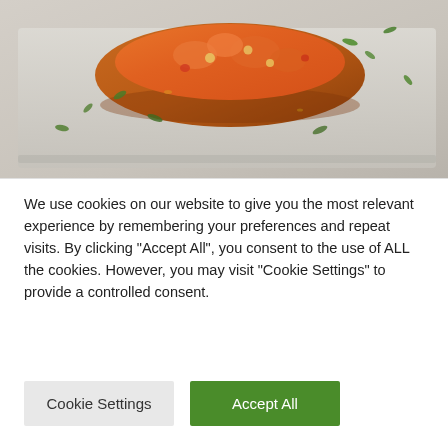[Figure (photo): Close-up photo of a stuffed sweet potato topped with bright orange filling, scattered with fresh green herbs and small colorful pieces, on a light marble or stone surface]
Increase the amount of fibre in your diet as this is a great way to improve digestion. Think fruit and veg as your first port of call, plus nuts, legumes and
We use cookies on our website to give you the most relevant experience by remembering your preferences and repeat visits. By clicking "Accept All", you consent to the use of ALL the cookies. However, you may visit "Cookie Settings" to provide a controlled consent.